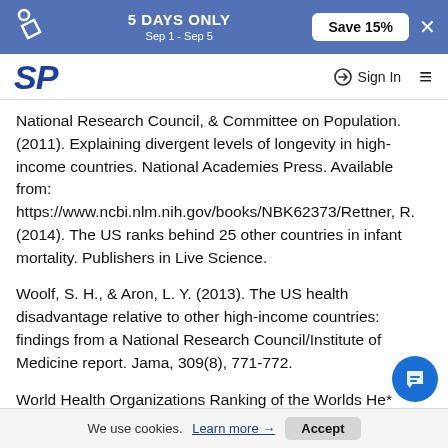5 DAYS ONLY Sep 1 - Sep 5  Save 15%  ×
SP  Sign In  ☰
National Research Council, & Committee on Population. (2011). Explaining divergent levels of longevity in high-income countries. National Academies Press. Available from: https://www.ncbi.nlm.nih.gov/books/NBK62373/Rettner, R. (2014). The US ranks behind 25 other countries in infant mortality. Publishers in Live Science.
Woolf, S. H., & Aron, L. Y. (2013). The US health disadvantage relative to other high-income countries: findings from a National Research Council/Institute of Medicine report. Jama, 309(8), 771-772.
World Health Organizations Ranking of the Worlds He* Systems. (n.d.). Retrieved February 12, 2018, from
We use cookies. Learn more → Accept